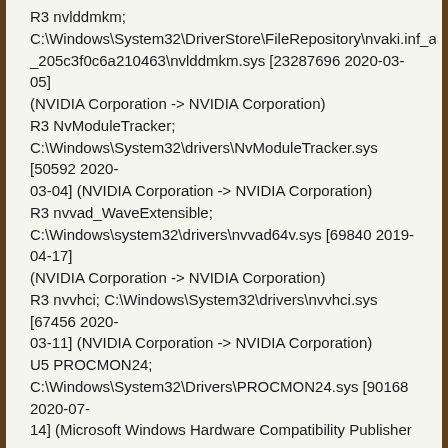R3 nvlddmkm; C:\Windows\System32\DriverStore\FileRepository\nvaki.inf_amd64_205c3f0c6a210463\nvlddmkm.sys [23287696 2020-03-05] (NVIDIA Corporation -> NVIDIA Corporation)
R3 NvModuleTracker; C:\Windows\System32\drivers\NvModuleTracker.sys [50592 2020-03-04] (NVIDIA Corporation -> NVIDIA Corporation)
R3 nvvad_WaveExtensible; C:\Windows\system32\drivers\nvvad64v.sys [69840 2019-04-17] (NVIDIA Corporation -> NVIDIA Corporation)
R3 nvvhci; C:\Windows\System32\drivers\nvvhci.sys [67456 2020-03-11] (NVIDIA Corporation -> NVIDIA Corporation)
U5 PROCMON24; C:\Windows\System32\Drivers\PROCMON24.sys [90168 2020-07-14] (Microsoft Windows Hardware Compatibility Publisher -> Sysinternals - www.sysinternals.com)
R3 tap0901; C:\Windows\System32\drivers\tap0901.sys [39920 2019-10-23] (Microsoft Windows Hardware Compatibility Publisher -> The OpenVPN Project)
R3 UcmCxUcsiNvppc; C:\Windows\System32\drivers\UcmCxUcsiNvppc.sys [715680 2019-11-21] (NVIDIA Corporation -> NVIDIA Corporation)
S0 WdBoot; C:\Windows\System32\drivers\wd\WdBoot.sys [45664